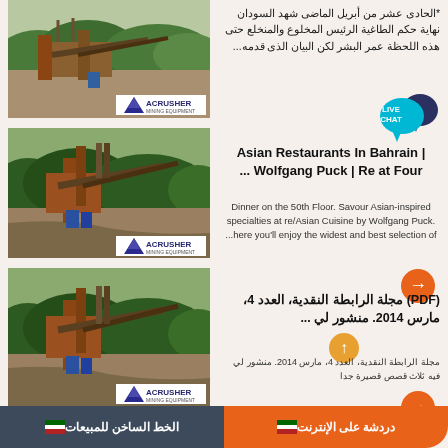[Figure (photo): Mining crusher equipment at a construction site with ACRUSHER MINING EQUIPMENT logo]
*الحادى عشر من أبريل الماضى شهد السودان نهاية حكم الطاغية الرئيس المخلوع والمنخلع حتى هذه اللحظة عمر البشر لكن البيان الذى قدمه...
[Figure (photo): Mining crusher equipment at a construction site with ACRUSHER MINING EQUIPMENT logo - second image]
Asian Restaurants In Bahrain | ... Wolfgang Puck | Re at Four
Dinner on the 50th Floor. Savour Asian-inspired specialties at re/Asian Cuisine by Wolfgang Puck. ...here you'll enjoy the widest and best selection of
[Figure (photo): Mining crusher equipment at a construction site with ACRUSHER MINING EQUIPMENT logo - third image]
(PDF) مجلة الرابطة النقدية، العدد 4، مارس 2014. منشور لي ...
مجلة الرابطة النقدية، العدد 4، مارس 2014. منشور لي فيه ثلاث قصص قصيرة جدا
الخط الساخن للمبيعات   دردشة على الإنترنت